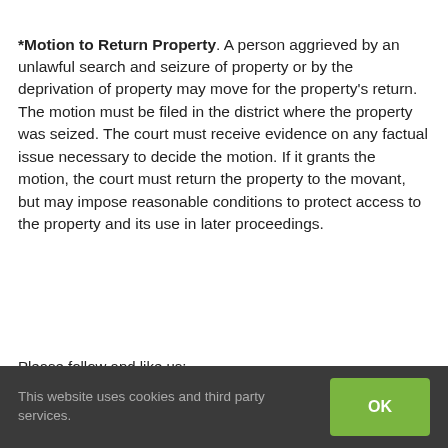*Motion to Return Property. A person aggrieved by an unlawful search and seizure of property or by the deprivation of property may move for the property's return. The motion must be filed in the district where the property was seized. The court must receive evidence on any factual issue necessary to decide the motion. If it grants the motion, the court must return the property to the movant, but may impose reasonable conditions to protect access to the property and its use in later proceedings.
Please follow and like us:
[Figure (other): Social media buttons: Facebook Like button and Twitter Tweet button]
This website uses cookies and third party services. OK